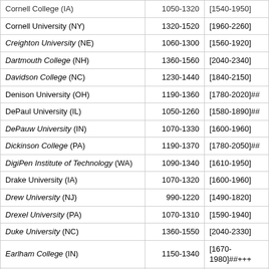| Institution | SAT Range | ACT Equivalent |
| --- | --- | --- |
| Cornell College (IA) | 1050-1320 | [1540-1950] |
| Cornell University (NY) | 1320-1520 | [1960-2260] |
| Creighton University (NE) | 1060-1300 | [1560-1920] |
| Dartmouth College (NH) | 1360-1560 | [2040-2340] |
| Davidson College (NC) | 1230-1440 | [1840-2150] |
| Denison University (OH) | 1190-1360 | [1780-2020]## |
| DePaul University (IL) | 1050-1260 | [1580-1890]## |
| DePauw University (IN) | 1070-1330 | [1600-1960] |
| Dickinson College (PA) | 1190-1370 | [1780-2050]## |
| DigiPen Institute of Technology (WA) | 1090-1340 | [1610-1950] |
| Drake University (IA) | 1070-1320 | [1600-1960] |
| Drew University (NJ) | 990-1220 | [1490-1820] |
| Drexel University (PA) | 1070-1310 | [1590-1940] |
| Duke University (NC) | 1360-1550 | [2040-2330] |
| Earlham College (IN) | 1150-1340 | [1670-1980]##+++ |
| Eckerd College (FL) | 1030-1220 | [1550-1840] |
| Elon University (NC) | 1120-1320 | [1680-1980] |
| Emerson College (MA) | 1140-1320 | [1720-1990] |
| Emory University (GA) | 1260-1470 | [1890-2200] |